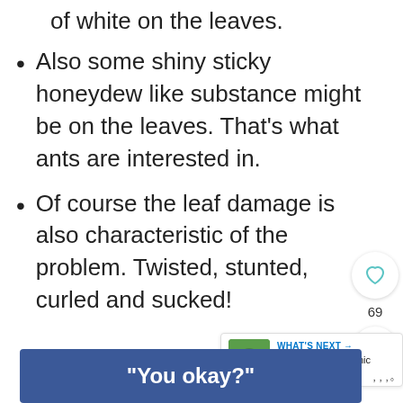of white on the leaves.
Also some shiny sticky honeydew like substance might be on the leaves. That's what ants are interested in.
Of course the leaf damage is also characteristic of the problem. Twisted, stunted, curled and sucked!
[Figure (screenshot): Website UI overlay with heart/like button showing 69 likes and a share button]
[Figure (screenshot): What's Next panel showing a ladybug image with text 'Ladybugs as Organic Pes...']
[Figure (screenshot): Advertisement banner with blue background and text "You okay?"]